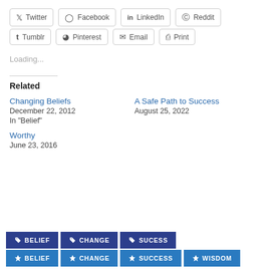Twitter
Facebook
LinkedIn
Reddit
Tumblr
Pinterest
Email
Print
Loading...
Related
Changing Beliefs
December 22, 2012
In "Belief"
A Safe Path to Success
August 25, 2022
Worthy
June 23, 2016
BELIEF
CHANGE
SUCESS
BELIEF
CHANGE
SUCCESS
WISDOM